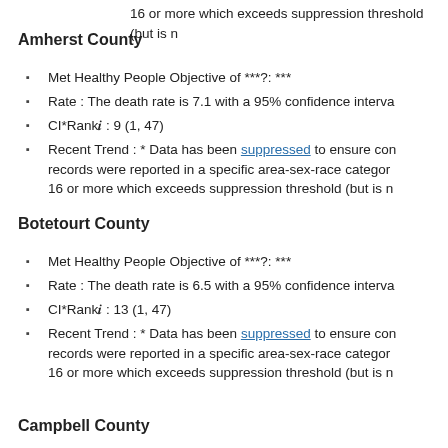16 or more which exceeds suppression threshold (but is n
Amherst County
Met Healthy People Objective of ***?: ***
Rate : The death rate is 7.1 with a 95% confidence interva
CI*Rankⓘ : 9 (1, 47)
Recent Trend : * Data has been suppressed to ensure con records were reported in a specific area-sex-race categor 16 or more which exceeds suppression threshold (but is n
Botetourt County
Met Healthy People Objective of ***?: ***
Rate : The death rate is 6.5 with a 95% confidence interva
CI*Rankⓘ : 13 (1, 47)
Recent Trend : * Data has been suppressed to ensure con records were reported in a specific area-sex-race categor 16 or more which exceeds suppression threshold (but is n
Campbell County